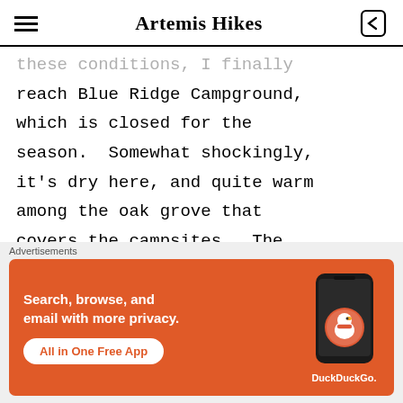Artemis Hikes
these conditions, I finally reach Blue Ridge Campground, which is closed for the season.  Somewhat shockingly, it's dry here, and quite warm among the oak grove that covers the campsites.  The
Advertisements
[Figure (screenshot): DuckDuckGo advertisement banner: orange background with white text 'Search, browse, and email with more privacy.' and a white pill-shaped button 'All in One Free App'. Right side shows a smartphone image with DuckDuckGo logo and text 'DuckDuckGo.']